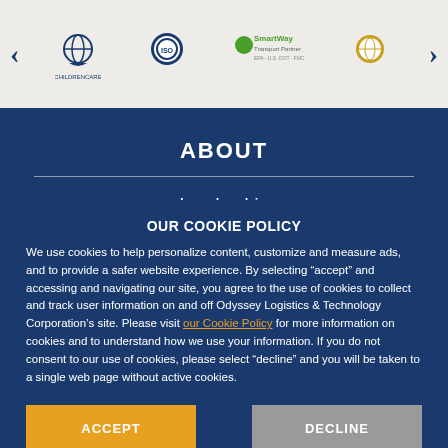[Figure (logo): Row of partner/certification logos including SmartWay Transport Partner and others on a light beige background, with left and right navigation arrows]
ABOUT
Leadership
Services
Careers
Network
Technology
Safety Policy
OUR COOKIE POLICY
We use cookies to help personalize content, customize and measure ads, and to provide a safer website experience. By selecting “accept” and accessing and navigating our site, you agree to the use of cookies to collect and track user information on and off Odyssey Logistics & Technology Corporation’s site. Please visit our Cookie Policy for more information on cookies and to understand how we use your information. If you do not consent to our use of cookies, please select “decline” and you will be taken to a single web page without active cookies.
ACCEPT
DECLINE